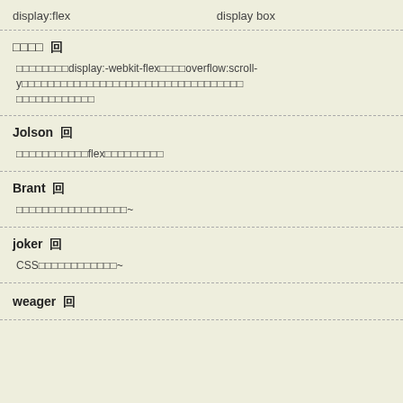display:flex　　　　　　　　　　　　　　　　　　　　　　　　display　box
□□□□ 回
□□□□□□□□display:-webkit-flex□□□□overflow:scroll-y□□□□□□□□□□□□□□□□□□□□□□□□□□□□□□□□□□
Jolson 回
□□□□□□□□□□□flex□□□□□□□□□
Brant 回
□□□□□□□□□□□□□□□□□□□~
joker 回
CSS□□□□□□□□□□□□□~
weager 回